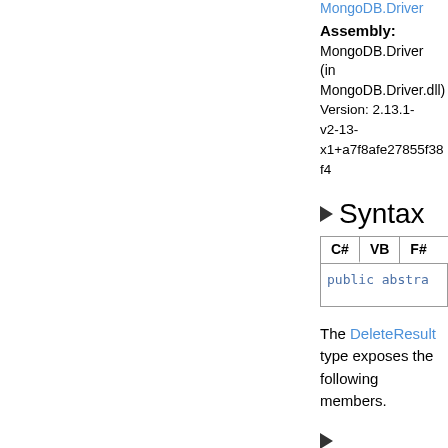MongoDB.Driver
Assembly: MongoDB.Driver (in MongoDB.Driver.dll) Version: 2.13.1-v2-13-x1+a7f8afe27855f38f4
Syntax
C#  VB  F#
public abstra
The DeleteResult type exposes the following members.
Constructors
| Nam |
| --- |